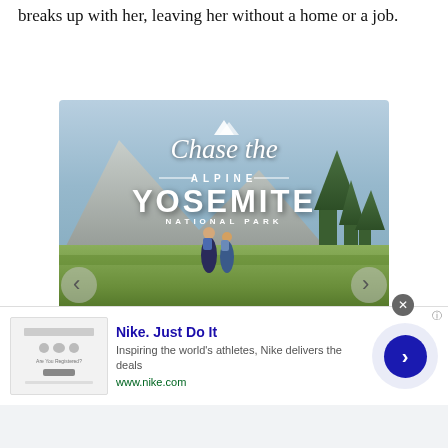breaks up with her, leaving her without a home or a job.
[Figure (photo): Advertisement banner for Chase the Alpine Yosemite National Park with two hikers in a meadow with mountain cliffs, navigation arrows on either side, captioned DISCOVER AMAZING TRAVEL SIDESTAGE.COM]
DISCOVER AMAZING TRAVEL
SIDESTAGE.COM
[Figure (screenshot): Nike advertisement: Nike. Just Do It — Inspiring the world's athletes, Nike delivers the deals. www.nike.com with a forward arrow button and close button]